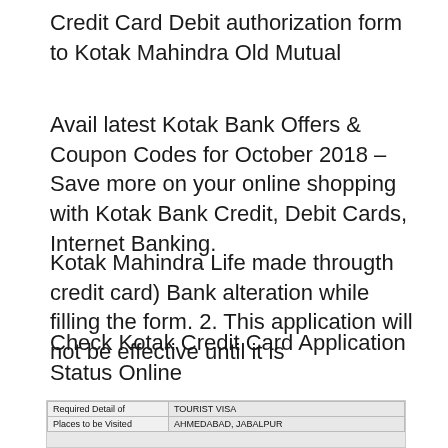Credit Card Debit authorization form to Kotak Mahindra Old Mutual
Avail latest Kotak Bank Offers & Coupon Codes for October 2018 – Save more on your online shopping with Kotak Bank Credit, Debit Cards, Internet Banking.
Kotak Mahindra Life made througth credit card) Bank alteration while filling the form. 2. This application will not be effective until it is
Check Kotak Credit Card Application Status Online
[Figure (table-as-image): Partial table showing 'Required Detail of: TOURIST VISA' and 'Places to be Visited: AHMEDABAD, JABALPUR']